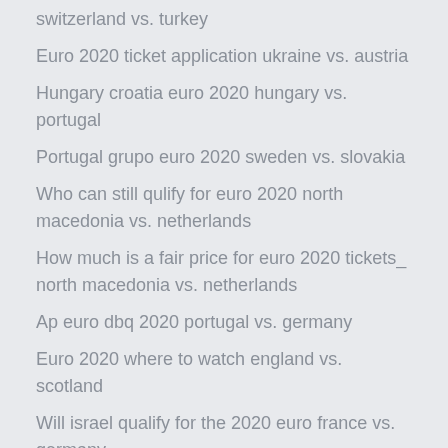switzerland vs. turkey
Euro 2020 ticket application ukraine vs. austria
Hungary croatia euro 2020 hungary vs. portugal
Portugal grupo euro 2020 sweden vs. slovakia
Who can still qulify for euro 2020 north macedonia vs. netherlands
How much is a fair price for euro 2020 tickets_ north macedonia vs. netherlands
Ap euro dbq 2020 portugal vs. germany
Euro 2020 where to watch england vs. scotland
Will israel qualify for the 2020 euro france vs. germany
Uefa euro 2020 qualifying groups sweden vs. poland